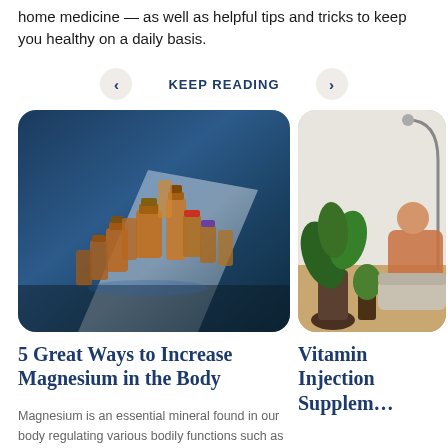home medicine — as well as helpful tips and tricks to keep you healthy on a daily basis.
KEEP READING
[Figure (photo): Amber glass medicine/supplement bottles arranged on a blue surface with dramatic lighting]
[Figure (photo): Person sitting in a living room with plants, partial view]
5 Great Ways to Increase Magnesium in the Body
Magnesium is an essential mineral found in our body regulating various bodily functions such as
Vitamin Injection Supple…